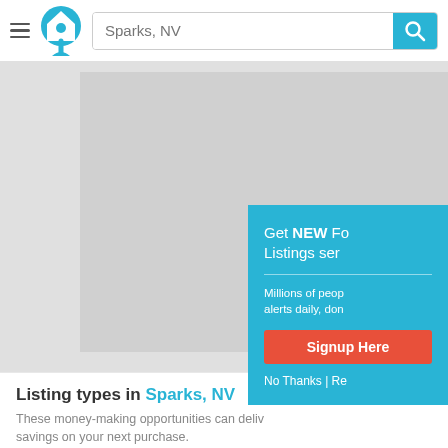[Figure (screenshot): Website header with hamburger menu, home icon logo, search bar with 'Sparks, NV' placeholder, and cyan search button with magnifying glass icon]
[Figure (screenshot): Gray map area placeholder showing a map interface]
[Figure (screenshot): Cyan modal popup with text 'Get NEW Fo... Listings ser...', subtext 'Millions of peop... alerts daily, don...', red 'Signup Here' button, and 'No Thanks | Re...' link]
Listing types in Sparks, NV
These money-making opportunities can deliv... savings on your next purchase.
Foreclosures (2)
HUD